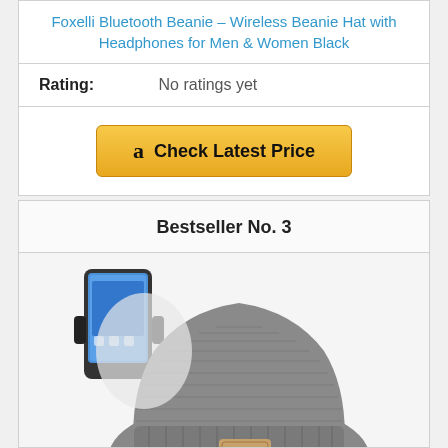Foxelli Bluetooth Beanie – Wireless Beanie Hat with Headphones for Men & Women Black
Rating: No ratings yet
[Figure (other): Amazon 'Check Latest Price' button with Amazon logo]
Bestseller No. 3
[Figure (photo): Gray knit bluetooth beanie hat with a phone armband visible in the background, showing a small leather patch logo on the front of the hat]